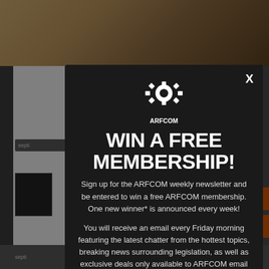[Figure (screenshot): Background website page (ARFCOM forum) partially visible behind a modal popup. Shows top banner image with tan/brown tones, search bars, content area with small image thumbnail, text lines in red and dark gray, orange scroll buttons on right side, and dark bottom bar.]
[Figure (infographic): ARFCOM modal popup with dark background. Contains ARFCOM gear logo at top, large white bold text 'WIN A FREE MEMBERSHIP!', descriptive text about newsletter signup and prize, and a text input field at the bottom. An X close button is in the top-right corner.]
WIN A FREE MEMBERSHIP!
Sign up for the ARFCOM weekly newsletter and be entered to win a free ARFCOM membership. One new winner* is announced every week!
You will receive an email every Friday morning featuring the latest chatter from the hottest topics, breaking news surrounding legislation, as well as exclusive deals only available to ARFCOM email subscribers.